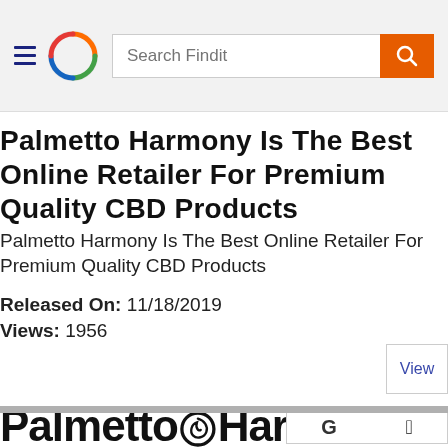Search Findit
Palmetto Harmony Is The Best Online Retailer For Premium Quality CBD Products
Palmetto Harmony Is The Best Online Retailer For Premium Quality CBD Products
Released On: 11/18/2019
Views: 1956
[Figure (screenshot): View button (partially visible) on the right side]
[Figure (logo): Palmetto Harmony logo — text 'Palmetto Har' with a stylized leaf/circle icon, shown at bottom of page]
[Figure (screenshot): Sign-in options box with Google G and Apple logo icons]